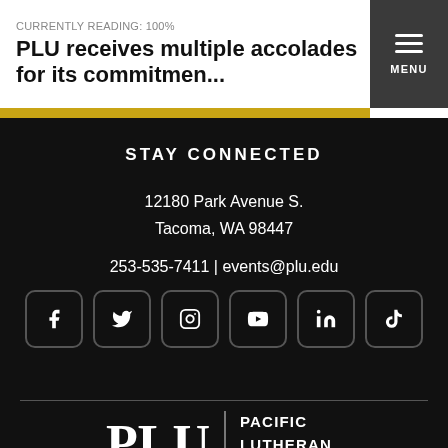CURRENTLY READING: 100%
PLU receives multiple accolades for its commitmen...
STAY CONNECTED
12180 Park Avenue S.
Tacoma, WA 98447
253-535-7411 | events@plu.edu
[Figure (other): Six social media icon buttons in rounded rectangles: Facebook (f), Twitter (bird), Instagram (camera), YouTube (play), LinkedIn (in), TikTok (music note)]
[Figure (logo): PLU Pacific Lutheran University logo in white on dark background]